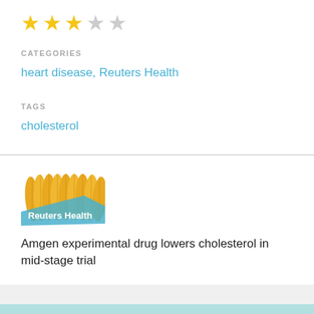[Figure (other): Three filled gold stars and two empty grey stars (rating: 3 out of 5)]
CATEGORIES
heart disease, Reuters Health
TAGS
cholesterol
[Figure (logo): Reuters Health logo with gold leaf/feather pattern and blue band with white text 'Reuters Health']
Amgen experimental drug lowers cholesterol in mid-stage trial